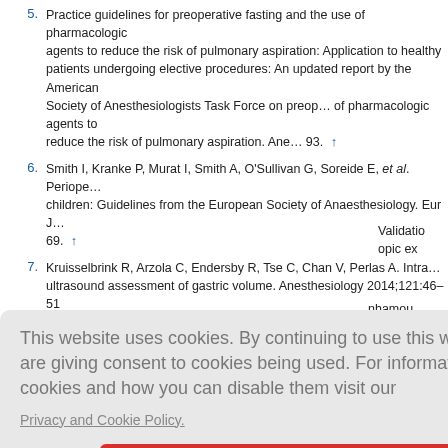5. Practice guidelines for preoperative fasting and the use of pharmacologic agents to reduce the risk of pulmonary aspiration: Application to healthy patients undergoing elective procedures: An updated report by the American Society of Anesthesiologists Task Force on preoperative fasting and the use of pharmacologic agents to reduce the risk of pulmonary aspiration. Ane… 93. ↑
6. Smith I, Kranke P, Murat I, Smith A, O'Sullivan G, Soreide E, et al. Periope… children: Guidelines from the European Society of Anaesthesiology. Eur J… 69. ↑
7. Kruisselbrink R, Arzola C, Endersby R, Tse C, Chan V, Perlas A. Intra… ultrasound assessment of gastric volume. Anesthesiology 2014;121:46–51
[Figure (screenshot): Cookie consent overlay dialog on a webpage. Text reads: 'This website uses cookies. By continuing to use this website you are giving consent to cookies being used. For information on cookies and how you can disable them visit our Privacy and Cookie Policy.' with a red 'AGREE & PROCEED' button.]
gastroparesis. Clin Gastroenterol Hepatol 2011;9:5-12. ↑